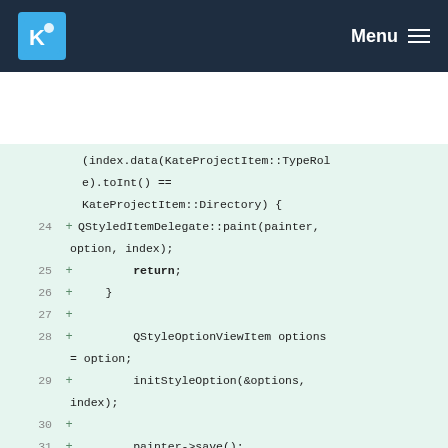KDE Menu
[Figure (screenshot): Code diff view showing C++ source code lines 24-35 with line numbers, plus signs indicating added lines, on a light green background. Code includes QStyledItemDelegate::paint, return, QStyleOptionViewItem, initStyleOption, painter->save(), and paint background comment.]